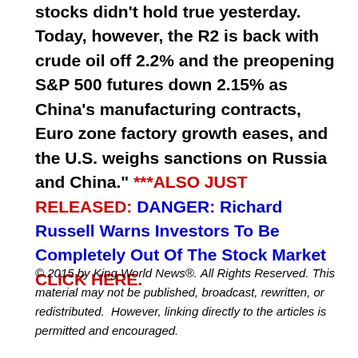stocks didn't hold true yesterday. Today, however, the R2 is back with crude oil off 2.2% and the preopening S&P 500 futures down 2.15% as China's manufacturing contracts, Euro zone factory growth eases, and the U.S. weighs sanctions on Russia and China." ***ALSO JUST RELEASED: DANGER: Richard Russell Warns Investors To Be Completely Out Of The Stock Market CLICK HERE.
© 2015 by King World News®. All Rights Reserved. This material may not be published, broadcast, rewritten, or redistributed.  However, linking directly to the articles is permitted and encouraged.